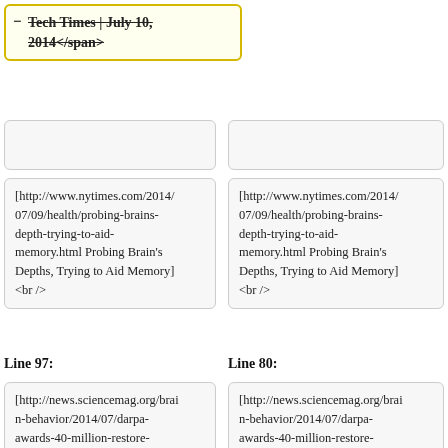— Tech Times | July 10, 2014</span> (strikethrough)
[http://www.nytimes.com/2014/07/09/health/probing-brains-depth-trying-to-aid-memory.html Probing Brain's Depths, Trying to Aid Memory] <br />
[http://www.nytimes.com/2014/07/09/health/probing-brains-depth-trying-to-aid-memory.html Probing Brain's Depths, Trying to Aid Memory] <br />
Line 97:
Line 80:
[http://news.sciencemag.org/brain-behavior/2014/07/darpa-awards-40-million-restore-memories DARPA awards $40 million to restore memories] <br />
[http://news.sciencemag.org/brain-behavior/2014/07/darpa-awards-40-million-restore-memories DARPA awards $40 million to restore memories] <br />
<span style="color:#9e9e9e">
<span style="color:#9e9e9e">